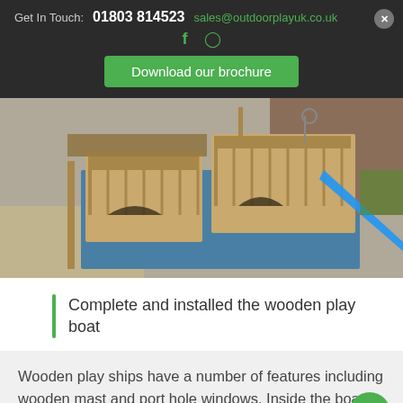Get In Touch: 01803 814523 sales@outdoorplayuk.co.uk
Download our brochure
[Figure (photo): Aerial view of a wooden play boat structure with blue safety surface, a blue slide, and brick wall background in a school playground.]
Complete and installed the wooden play boat
Wooden play ships have a number of features including wooden mast and port hole windows. Inside the boat you can opt for a sand pit or sea coloured